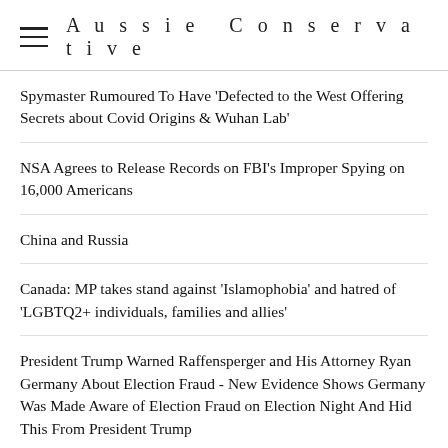Aussie Conservative
Spymaster Rumoured To Have 'Defected to the West Offering Secrets about Covid Origins & Wuhan Lab'
NSA Agrees to Release Records on FBI's Improper Spying on 16,000 Americans
China and Russia
Canada: MP takes stand against 'Islamophobia' and hatred of 'LGBTQ2+ individuals, families and allies'
President Trump Warned Raffensperger and His Attorney Ryan Germany About Election Fraud - New Evidence Shows Germany Was Made Aware of Election Fraud on Election Night And Hid This From President Trump